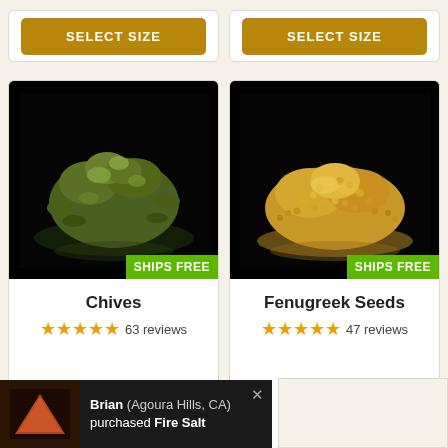[Figure (other): SELECT SIZE button top-left card]
[Figure (other): SELECT SIZE button top-right card]
[Figure (photo): Pile of dried chives on black background with SHIPS FREE badge]
Chives
★★★★★ 63 reviews
[Figure (other): SELECT SIZE button for Chives]
[Figure (photo): Pile of fenugreek seeds on black background with SHIPS FREE badge]
Fenugreek Seeds
★★★★★ 47 reviews
[Figure (other): SELECT SIZE button for Fenugreek Seeds]
Brian (Agoura Hills, CA) purchased Fire Salt